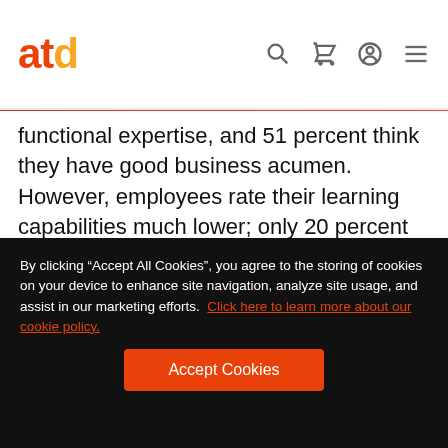atd [navigation icons: search, cart, account, menu]
functional expertise, and 51 percent think they have good business acumen. However, employees rate their learning capabilities much lower; only 20 percent say they are effective at learning. This discrepancy is not a surprise, considering that only 16 percent of heads of L&D report focusing on teaching employees how to
By clicking “Accept All Cookies”, you agree to the storing of cookies on your device to enhance site navigation, analyze site usage, and assist in our marketing efforts.  Click here to learn more about our cookie policy.
Accept Cookies